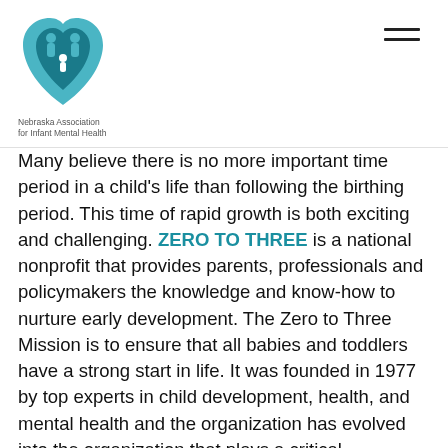Nebraska Association for Infant Mental Health
Many believe there is no more important time period in a child's life than following the birthing period. This time of rapid growth is both exciting and challenging. ZERO TO THREE is a national nonprofit that provides parents, professionals and policymakers the knowledge and know-how to nurture early development. The Zero to Three Mission is to ensure that all babies and toddlers have a strong start in life. It was founded in 1977 by top experts in child development, health, and mental health and the organization has evolved into the organization that plays a critical leadership role in promoting understanding around key issues affecting young children and their families, including child care, infant mental health, early language and literacy development, early intervention and the impact of culture on early childhood development. Zero to Three is a strong source of information and a reliable partner